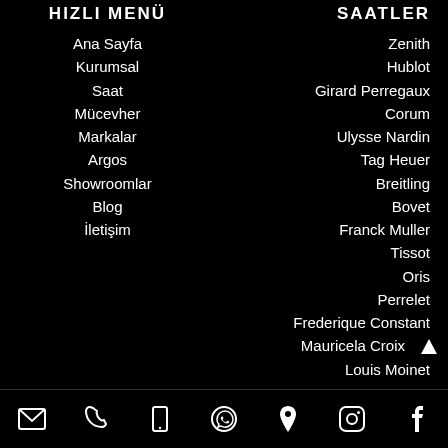HIZLI MENÜ
Ana Sayfa
Kurumsal
Saat
Mücevher
Markalar
Argos
Showroomlar
Blog
İletişim
SAATLER
Zenith
Hublot
Girard Perregaux
Corum
Ulysse Nardin
Tag Heuer
Breitling
Bovet
Franck Muller
Tissot
Oris
Perrelet
Frederique Constant
Mauricela Croix
Louis Moinet
Email | Phone | Mobile | WhatsApp | Location | Instagram | Facebook